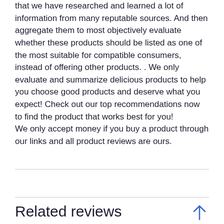that we have researched and learned a lot of information from many reputable sources. And then aggregate them to most objectively evaluate whether these products should be listed as one of the most suitable for compatible consumers, instead of offering other products. . We only evaluate and summarize delicious products to help you choose good products and deserve what you expect! Check out our top recommendations now to find the product that works best for you! We only accept money if you buy a product through our links and all product reviews are ours.
Related reviews